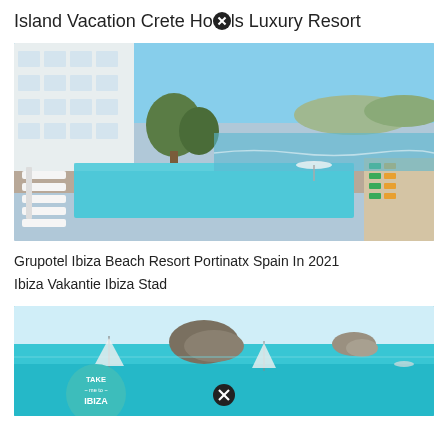Island Vacation Crete Hotels Luxury Resort
[Figure (photo): Luxury resort hotel with infinity pool overlooking a beach bay in Ibiza, Spain. White sun loungers line the pool deck, with turquoise water and beach chairs visible in the background.]
Grupotel Ibiza Beach Resort Portinatx Spain In 2021 Ibiza Vakantie Ibiza Stad
[Figure (photo): Turquoise sea with a small rocky island in the background and sailing boats on calm water. In the bottom left corner, a circular teal badge reads TAKE me to IBIZA.]